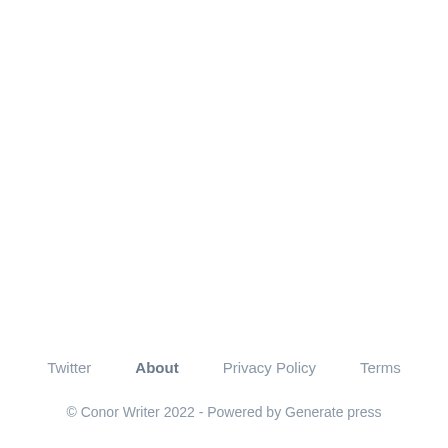Twitter  About  Privacy Policy  Terms
© Conor Writer 2022 - Powered by Generate press